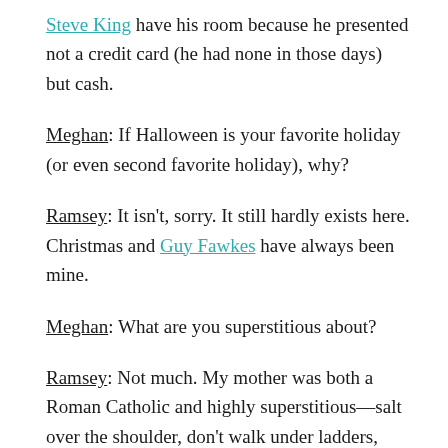Steve King have his room because he presented not a credit card (he had none in those days) but cash.
Meghan: If Halloween is your favorite holiday (or even second favorite holiday), why?
Ramsey: It isn't, sorry. It still hardly exists here. Christmas and Guy Fawkes have always been mine.
Meghan: What are you superstitious about?
Ramsey: Not much. My mother was both a Roman Catholic and highly superstitious—salt over the shoulder, don't walk under ladders, look for luck if a black cat crosses your path (although an exactly opposite superstition also exists) and much more—all of which biases me towards rationality. However, for more years than I can remember I've found myself glancing at clocks